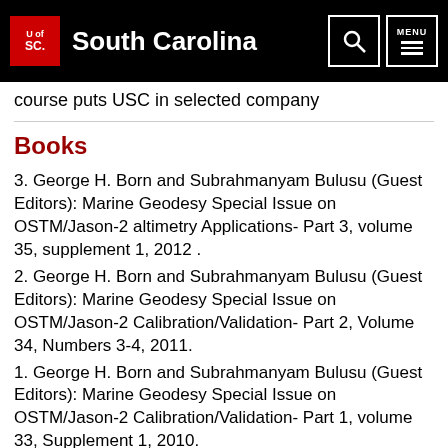University of South Carolina
course puts USC in selected company
Books
3. George H. Born and Subrahmanyam Bulusu (Guest Editors): Marine Geodesy Special Issue on OSTM/Jason-2 altimetry Applications- Part 3, volume 35, supplement 1, 2012 .
2. George H. Born and Subrahmanyam Bulusu (Guest Editors): Marine Geodesy Special Issue on OSTM/Jason-2 Calibration/Validation- Part 2, Volume 34, Numbers 3-4, 2011.
1. George H. Born and Subrahmanyam Bulusu (Guest Editors): Marine Geodesy Special Issue on OSTM/Jason-2 Calibration/Validation- Part 1, volume 33, Supplement 1, 2010.